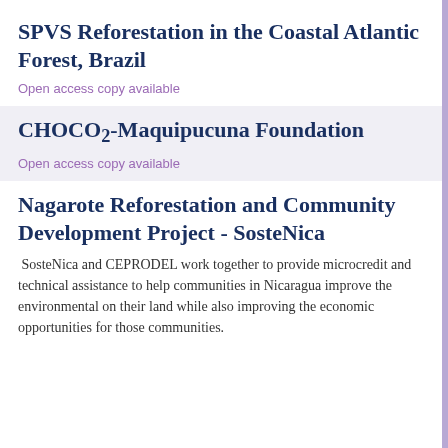SPVS Reforestation in the Coastal Atlantic Forest, Brazil
Open access copy available
CHOCO2-Maquipucuna Foundation
Open access copy available
Nagarote Reforestation and Community Development Project - SosteNica
SosteNica and CEPRODEL work together to provide microcredit and technical assistance to help communities in Nicaragua improve the environmental on their land while also improving the economic opportunities for those communities.